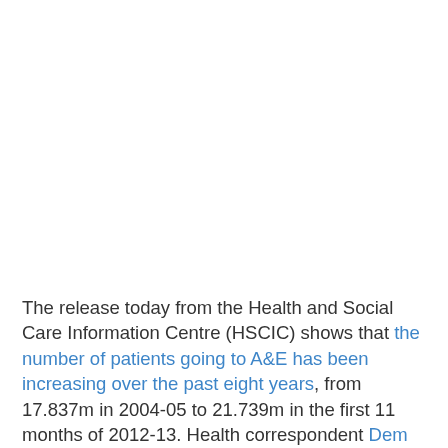The release today from the Health and Social Care Information Centre (HSCIC) shows that the number of patients going to A&E has been increasing over the past eight years, from 17.837m in 2004-05 to 21.739m in the first 11 months of 2012-13. Health correspondent Dem...